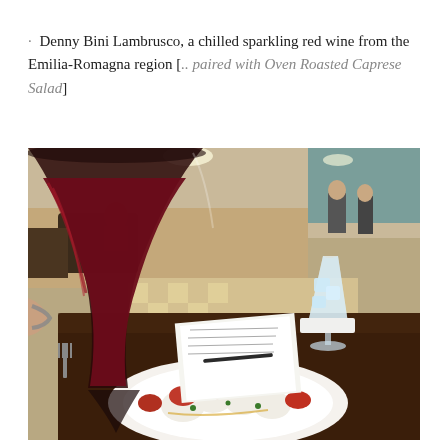· Denny Bini Lambrusco, a chilled sparkling red wine from the Emilia-Romagna region [.. paired with Oven Roasted Caprese Salad]
[Figure (photo): Close-up restaurant table photo showing a large wine glass filled with dark red wine in the foreground, a white plate with Oven Roasted Caprese Salad (mozzarella, roasted tomatoes, herbs), papers and a pen on the table, a water glass with ice in the background, and people dining in a hotel/restaurant interior.]